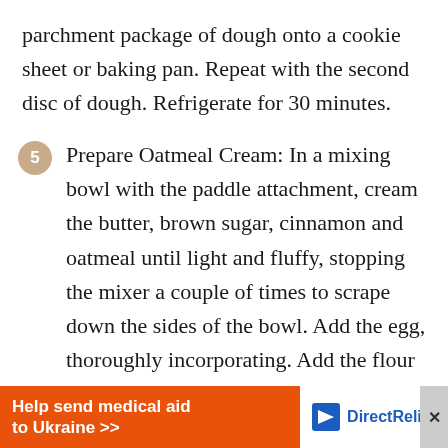parchment package of dough onto a cookie sheet or baking pan. Repeat with the second disc of dough. Refrigerate for 30 minutes.
5 Prepare Oatmeal Cream: In a mixing bowl with the paddle attachment, cream the butter, brown sugar, cinnamon and oatmeal until light and fluffy, stopping the mixer a couple of times to scrape down the sides of the bowl. Add the egg, thoroughly incorporating. Add the flour and cornstarch and mix just to combine. If
[Figure (other): Advertisement banner for Direct Relief: orange background with text 'Help send medical aid to Ukraine >>' and Direct Relief logo on white background on the right side.]